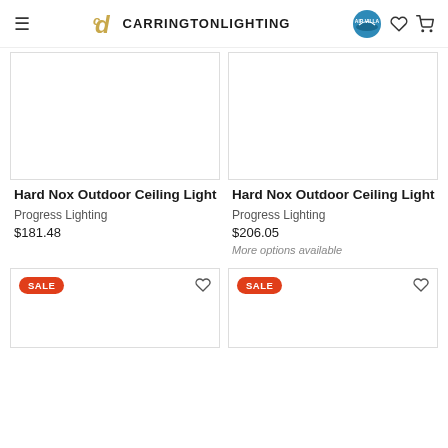Carrington Lighting — navigation header with logo, Air Villa badge, heart and cart icons
[Figure (screenshot): Empty product image placeholder, left column top]
[Figure (screenshot): Empty product image placeholder, right column top]
Hard Nox Outdoor Ceiling Light
Progress Lighting
$181.48
Hard Nox Outdoor Ceiling Light
Progress Lighting
$206.05
More options available
[Figure (screenshot): Sale product image placeholder, left column bottom, with SALE badge]
[Figure (screenshot): Sale product image placeholder, right column bottom, with SALE badge]